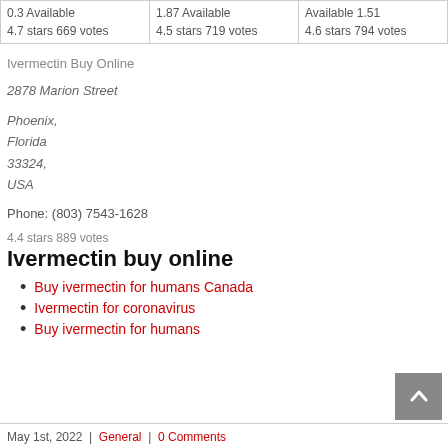| 0.3 Available
4.7 stars 669 votes | 1.87 Available
4.5 stars 719 votes | Available 1.51
4.6 stars 794 votes |
Ivermectin Buy Online
2878 Marion Street
Phoenix,
Florida
33324,
USA
Phone: (803) 7543-1628
4.4 stars 889 votes
Ivermectin buy online
Buy ivermectin for humans Canada
Ivermectin for coronavirus
Buy ivermectin for humans
May 1st, 2022 | General | 0 Comments